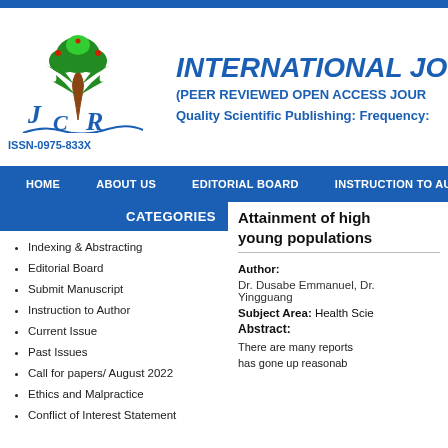[Figure (logo): Journal logo with tree and letters JCR, ISSN-0975-833X]
INTERNATIONAL JO (PEER REVIEWED OPEN ACCESS JOUR
Quality Scientific Publishing: Frequency:
HOME   ABOUT US   EDITORIAL BOARD   INSTRUCTION TO AUT
CATEGORIES
Indexing & Abstracting
Editorial Board
Submit Manuscript
Instruction to Author
Current Issue
Past Issues
Call for papers/ August 2022
Ethics and Malpractice
Conflict of Interest Statement
Attainment of high young populations
Author:
Dr. Dusabe Emmanuel, Dr. Yingguang
Subject Area: Health Scie
Abstract:
There are many reports has gone up reasonab